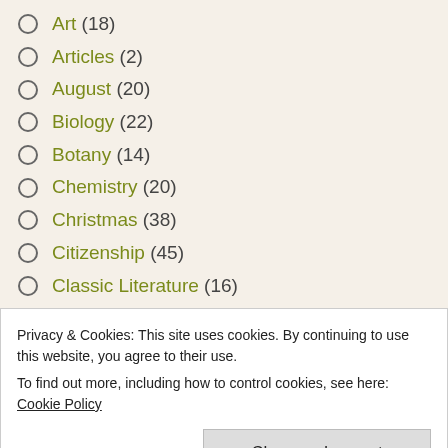Art (18)
Articles (2)
August (20)
Biology (22)
Botany (14)
Chemistry (20)
Christmas (38)
Citizenship (45)
Classic Literature (16)
Crafts (84)
Privacy & Cookies: This site uses cookies. By continuing to use this website, you agree to their use. To find out more, including how to control cookies, see here: Cookie Policy
Earth (9)